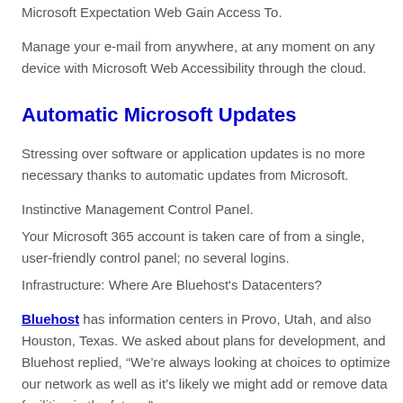Microsoft Expectation Web Gain Access To.
Manage your e-mail from anywhere, at any moment on any device with Microsoft Web Accessibility through the cloud.
Automatic Microsoft Updates
Stressing over software or application updates is no more necessary thanks to automatic updates from Microsoft.
Instinctive Management Control Panel.
Your Microsoft 365 account is taken care of from a single, user-friendly control panel; no several logins.
Infrastructure: Where Are Bluehost's Datacenters?
Bluehost has information centers in Provo, Utah, and also Houston, Texas. We asked about plans for development, and Bluehost replied, “We’re always looking at choices to optimize our network as well as it’s likely we might add or remove data facilities in the future.”